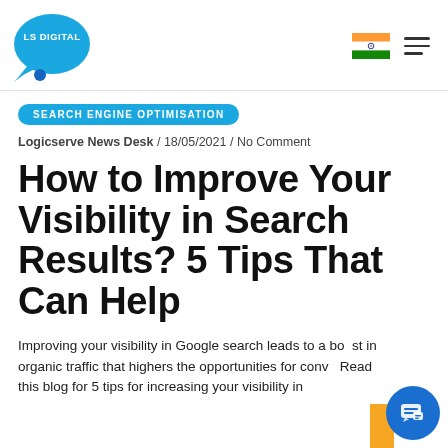[Figure (logo): LS Digital logo — teal speech bubble shape with 'LS DIGITAL' text in white, with a small blue circle below]
LS DIGITAL [logo] / India flag / hamburger menu
SEARCH ENGINE OPTIMISATION
Logicserve News Desk / 18/05/2021 / No Comment
How to Improve Your Visibility in Search Results? 5 Tips That Can Help
Improving your visibility in Google search leads to a boost in organic traffic that highers the opportunities for conve... Read this blog for 5 tips for increasing your visibility in